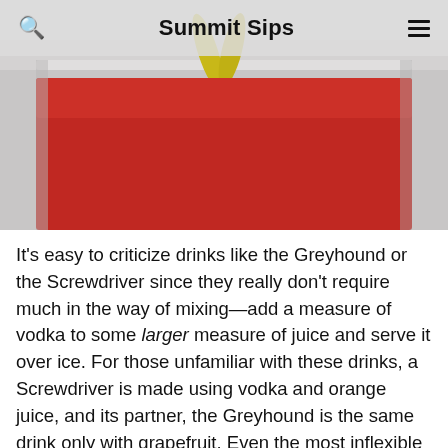Summit Sips
[Figure (photo): A close-up photo of a red cocktail drink in a glass with yellow lemon garnish, viewed from above, ice-frosted glass exterior visible at top]
It's easy to criticize drinks like the Greyhound or the Screwdriver since they really don't require much in the way of mixing—add a measure of vodka to some larger measure of juice and serve it over ice. For those unfamiliar with these drinks, a Screwdriver is made using vodka and orange juice, and its partner, the Greyhound is the same drink only with grapefruit. Even the most inflexible mixology snob has to admit that these are basic highball cocktails—spirit and